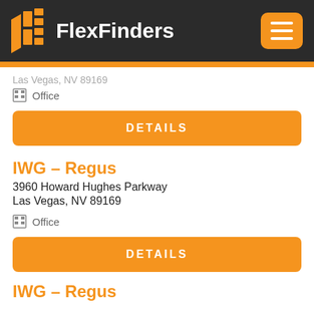FlexFinders
Las Vegas, NV 89169
Office
DETAILS
IWG – Regus
3960 Howard Hughes Parkway
Las Vegas, NV 89169
Office
DETAILS
IWG – Regus